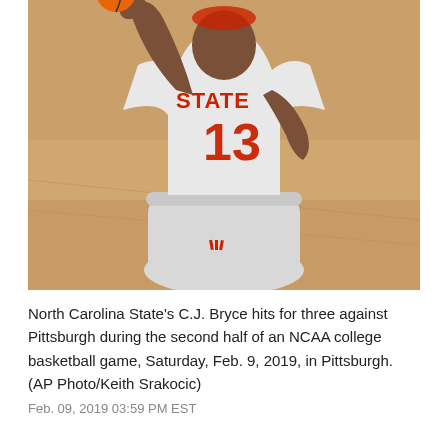[Figure (photo): A basketball player wearing a North Carolina State jersey (number 13, gray with red lettering reading 'STATE') and gray shorts with an Adidas logo, shooting a basketball. The player's arm is raised. The background shows a basketball court with warm wooden tones.]
North Carolina State's C.J. Bryce hits for three against Pittsburgh during the second half of an NCAA college basketball game, Saturday, Feb. 9, 2019, in Pittsburgh. (AP Photo/Keith Srakocic)
Feb. 09, 2019 03:59 PM EST